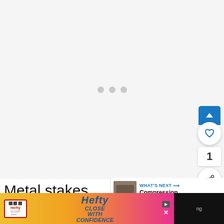[Figure (photo): Loading image placeholder with three grey dots on a light grey background]
[Figure (screenshot): UI overlay with scroll-up button (blue), heart/favourite button, count of 1, and share button on right side]
[Figure (screenshot): What's Next panel showing thumbnail and title 'Compression Sack Sleepi...']
Metal stakes can stand up to a poun heavier weight mallets like those made of ru ing
[Figure (screenshot): Hefty Close With Confidence advertisement banner at the bottom of the page]